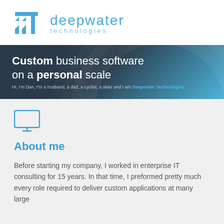[Figure (logo): Deepwater Technologies logo with stylized blue DT icon and text 'deepwater technologies']
Custom business software on a personal scale
Hi, I'm Dan, I'm a husband, a dad, a cyclist, a skier and I am Deepwater Technologies.
[Figure (illustration): Blue monitor/desktop computer icon]
About me
Before starting my company, I worked in enterprise IT consulting for 15 years. In that time, I preformed pretty much every role required to deliver custom applications at many large